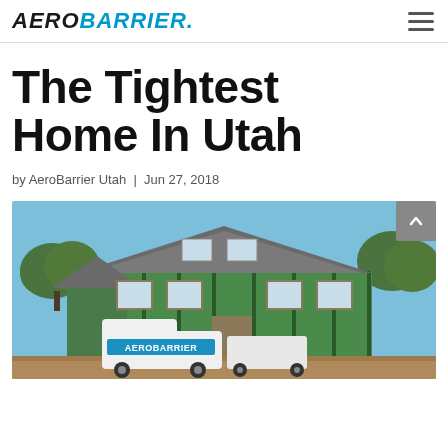AEROBARRIER
The Tightest Home In Utah
by AeroBarrier Utah | Jun 27, 2018
[Figure (photo): Photo of a house under construction with green-painted exterior, parked AeroBarrier branded van and trailer in foreground, blue sky and trees in background.]